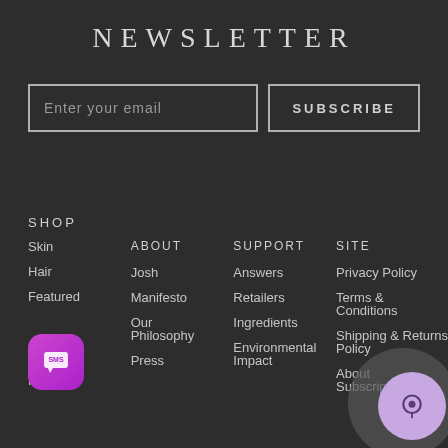NEWSLETTER
Enter your email
SUBSCRIBE
SHOP
Skin
Hair
Featured
All Products
ABOUT
Josh
Manifesto
Our Philosophy
Press
SUPPORT
Answers
Retailers
Ingredients
Environmental Impact
SITE
Privacy Policy
Terms & Conditions
Shipping & Returns Policy
About Subscriptions